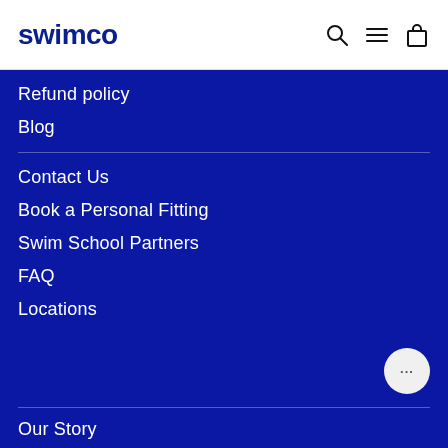swimco
Refund policy
Blog
Contact Us
Book a Personal Fitting
Swim School Partners
FAQ
Locations
Our Story